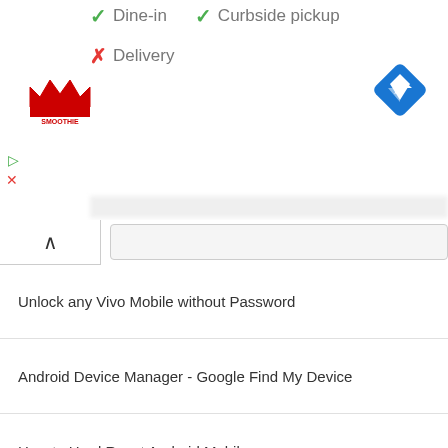✓ Dine-in  ✓ Curbside pickup
✗ Delivery
[Figure (logo): Smoothie King logo - red crown with brand name]
[Figure (other): Blue diamond navigation/directions icon]
Unlock any Vivo Mobile without Password
Android Device Manager - Google Find My Device
How to Hard Reset Android Mobile
Unlock Vivo Y11 (2019) - Forgot Password
Unlock Vivo Y91 - Forgot Password
Unlock Samsung Galaxy S9 - Forgot Password